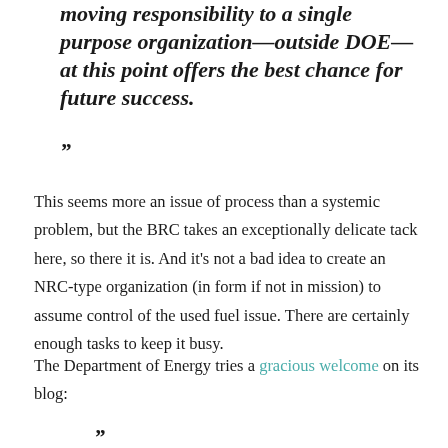moving responsibility to a single purpose organization—outside DOE—at this point offers the best chance for future success.
”
This seems more an issue of process than a systemic problem, but the BRC takes an exceptionally delicate tack here, so there it is. And it's not a bad idea to create an NRC-type organization (in form if not in mission) to assume control of the used fuel issue. There are certainly enough tasks to keep it busy.
The Department of Energy tries a gracious welcome on its blog:
”